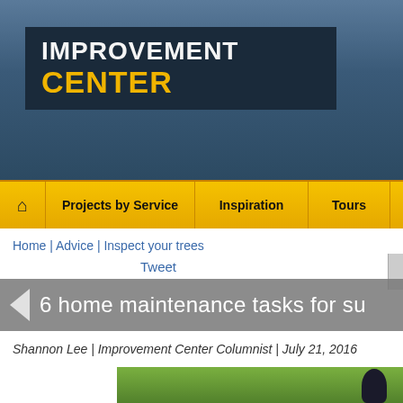[Figure (logo): Improvement Center website logo — dark navy background box with white text 'IMPROVEMENT' and gold/yellow text 'CENTER', set against a steel blue gradient header background]
Projects by Service | Inspiration | Tours | Blog
Home | Advice | Inspect your trees
Tweet
6 home maintenance tasks for su
Shannon Lee | Improvement Center Columnist | July 21, 2016
[Figure (photo): Outdoor photo showing tall trees with green foliage and a dark round object on a wooden structure/pergola in the lower right, photographed from below looking up]